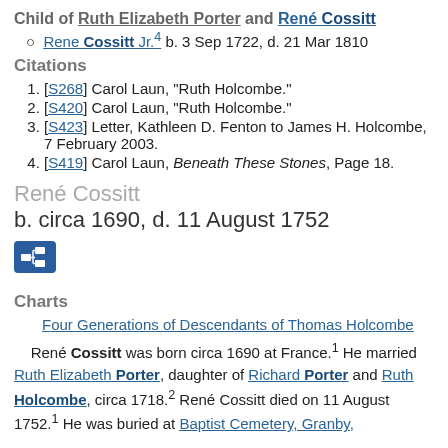Child of Ruth Elizabeth Porter and René Cossitt
Rene Cossitt Jr.4 b. 3 Sep 1722, d. 21 Mar 1810
Citations
[S268] Carol Laun, "Ruth Holcombe."
[S420] Carol Laun, "Ruth Holcombe."
[S423] Letter, Kathleen D. Fenton to James H. Holcombe, 7 February 2003.
[S419] Carol Laun, Beneath These Stones, Page 18.
René Cossitt
b. circa 1690, d. 11 August 1752
[Figure (other): Pedigree chart icon button]
Charts
Four Generations of Descendants of Thomas Holcombe
René Cossitt was born circa 1690 at France.1 He married Ruth Elizabeth Porter, daughter of Richard Porter and Ruth Holcombe, circa 1718.2 René Cossitt died on 11 August 1752.1 He was buried at Baptist Cemetery, Granby,